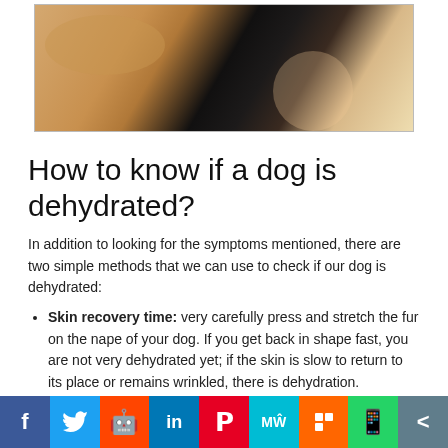[Figure (photo): Close-up photo of a dog's face and nose, with golden/tan fur and dark nose visible]
How to know if a dog is dehydrated?
In addition to looking for the symptoms mentioned, there are two simple methods that we can use to check if our dog is dehydrated:
Skin recovery time: very carefully press and stretch the fur on the nape of your dog. If you get back in shape fast, you are not very dehydrated yet; if the skin is slow to return to its place or remains wrinkled, there is dehydration.
Dehydration of the gums: Take your dog's bottom lip, part down, and press down on the gum. If you become sunken...
[Figure (other): Social media sharing bar with Facebook, Twitter, Reddit, LinkedIn, Pinterest, MeWe, Mix, WhatsApp, and share buttons]